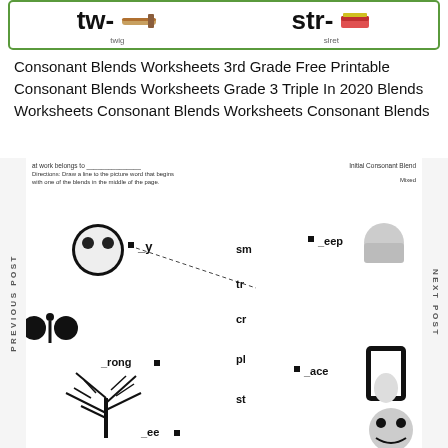[Figure (illustration): Top banner with green border showing 'tw-' with twig image and 'str-' with stiret/eraser image, educational consonant blends worksheet header]
Consonant Blends Worksheets 3rd Grade Free Printable Consonant Blends Worksheets Grade 3 Triple In 2020 Blends Worksheets Consonant Blends Worksheets Consonant Blends
[Figure (illustration): Blurred worksheet image showing Initial Consonant Blends matching activity with pictures and blend choices (sm, tr, cr, pl, st) with words like _y, _rong, _ee, _eep, _ace. Side labels read PREVIOUS POST and NEXT POST]